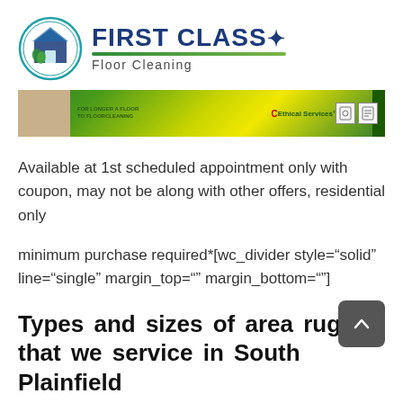[Figure (logo): First Class Floor Cleaning logo with circular icon showing a house and cleaning equipment, teal circle outline, green swoosh underline, company name in dark blue bold text with a star, and 'Floor Cleaning' subtitle in gray]
[Figure (photo): Banner image with green and yellow gradient background, Ethical Services branding with red C logo, small text, and certification badge icons on right side]
Available at 1st scheduled appointment only with coupon, may not be along with other offers, residential only
minimum purchase required*[wc_divider style="solid" line="single" margin_top="" margin_bottom=""]
Types and sizes of area rugs that we service in South Plainfield